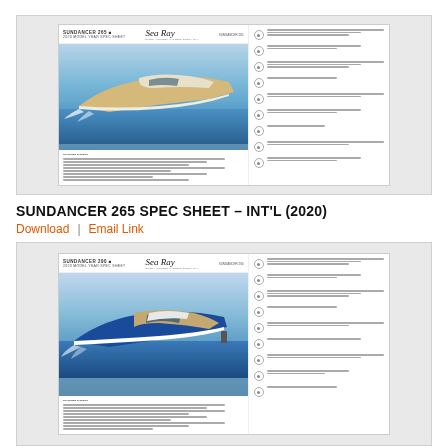[Figure (screenshot): Thumbnail preview of Sundancer 265 Spec Sheet document showing a speedboat on water with specification details]
SUNDANCER 265 SPEC SHEET – INT'L (2020)
Download  |  Email Link
[Figure (screenshot): Thumbnail preview of Sundancer 290 Spec Sheet document showing a blue and white boat on water with specification details]
SUNDANCER 290 SPEC SHEET – INT'L (2020)